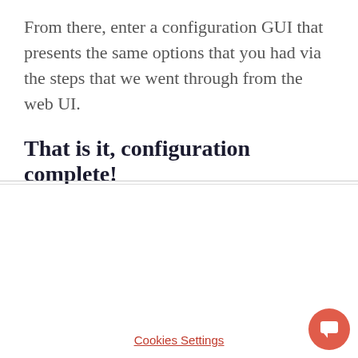From there, enter a configuration GUI that presents the same options that you had via the steps that we went through from the web UI.
That is it, configuration complete!
× By clicking “Accept All Cookies”, you agree to the storing of cookies on your device to enhance site navigation, analyze site usage, and assist in our marketing efforts. Cookie Policy Online Privacy Policy
Accept All Cookies
Cookies Settings